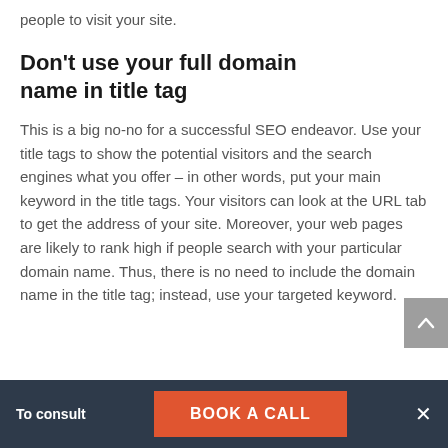people to visit your site.
Don't use your full domain name in title tag
This is a big no-no for a successful SEO endeavor. Use your title tags to show the potential visitors and the search engines what you offer – in other words, put your main keyword in the title tags. Your visitors can look at the URL tab to get the address of your site. Moreover, your web pages are likely to rank high if people search with your particular domain name. Thus, there is no need to include the domain name in the title tag; instead, use your targeted keyword.
To consult   BOOK A CALL   ×